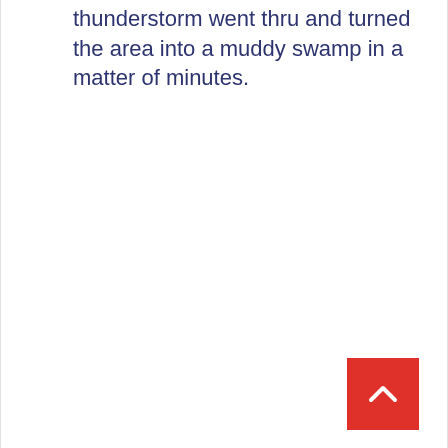thunderstorm went thru and turned the area into a muddy swamp in a matter of minutes.
[Figure (other): Red square back-to-top button with a white upward-pointing chevron arrow in the bottom-right corner of the page.]